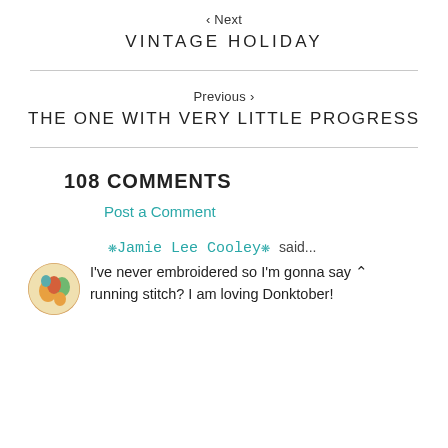‹ Next
VINTAGE HOLIDAY
Previous ›
THE ONE WITH VERY LITTLE PROGRESS
108 COMMENTS
Post a Comment
❋Jamie Lee Cooley❋ said...
I've never embroidered so I'm gonna say running stitch? I am loving Donktober!